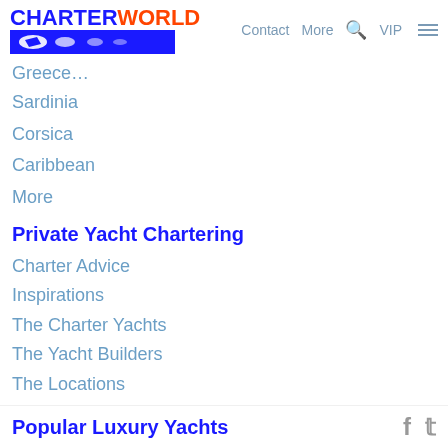CHARTERWORLD — Contact More VIP
Greece (partial)
Sardinia
Corsica
Caribbean
More
Private Yacht Chartering
Charter Advice
Inspirations
The Charter Yachts
The Yacht Builders
The Locations
Feature Yachts
Yacht Reviews
Expert Advice
Special Offers & Prices
Popular Luxury Yachts